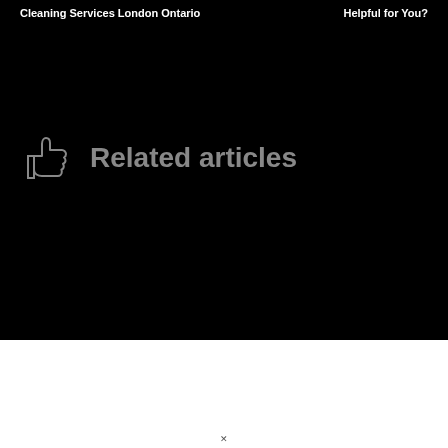Cleaning Services London Ontario
Helpful for You?
Related articles